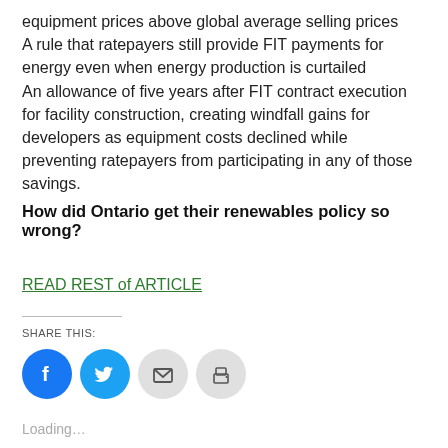equipment prices above global average selling prices
A rule that ratepayers still provide FIT payments for energy even when energy production is curtailed
An allowance of five years after FIT contract execution for facility construction, creating windfall gains for developers as equipment costs declined while preventing ratepayers from participating in any of those savings.
How did Ontario get their renewables policy so wrong?
READ REST of ARTICLE
SHARE THIS:
[Figure (infographic): Social share icons: Facebook (blue circle), Twitter (light blue circle), Email (grey circle with envelope), Print (grey circle with printer)]
Loading...